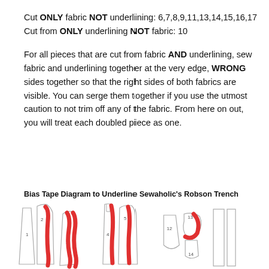Cut ONLY fabric NOT underlining: 6,7,8,9,11,13,14,15,16,17
Cut from ONLY underlining NOT fabric: 10
For all pieces that are cut from fabric AND underlining, sew fabric and underlining together at the very edge, WRONG sides together so that the right sides of both fabrics are visible. You can serge them together if you use the utmost caution to not trim off any of the fabric. From here on out, you will treat each doubled piece as one.
Bias Tape Diagram to Underline Sewaholic's Robson Trench
[Figure (illustration): Bias tape diagram showing pattern pieces numbered 1-5, 12, 13, 14 for the Sewaholic Robson Trench. Pattern pieces shown in outline with red bias tape markings overlaid on pieces 2, 3, 4, 5, and 13.]